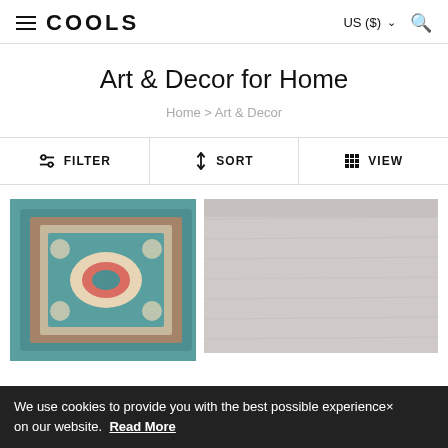COOLS   US ($)  [search]
Art & Decor for Home
Home > Art & Decor
FILTER   SORT   VIEW
[Figure (photo): Colorful Persian-style rug with teal/blue background and floral medallion pattern]
[Figure (photo): Light grey/white textured rug photographed close-up]
We use cookies to provide you with the best possible experience× on our website.  Read More